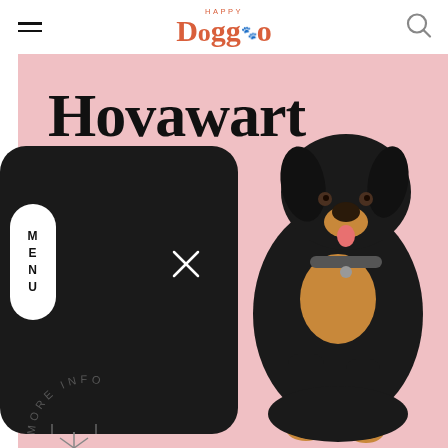Happy Doggo
[Figure (photo): Happy Doggo website screenshot showing a Hovawart dog breed page with pink background, black overlay menu, and a black and tan Hovawart dog sitting]
Hovawart
MENU
MORE INFO